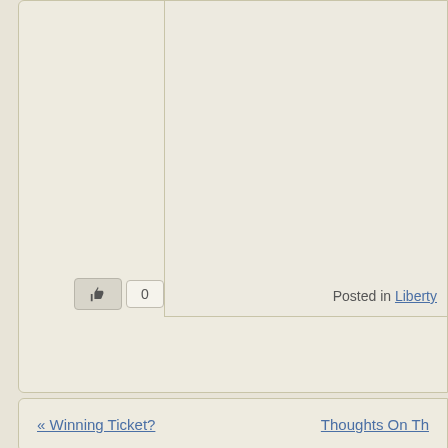[Figure (screenshot): Like button with thumbs up icon and count of 0]
Posted in Liberty
« Winning Ticket?
Thoughts On Th...